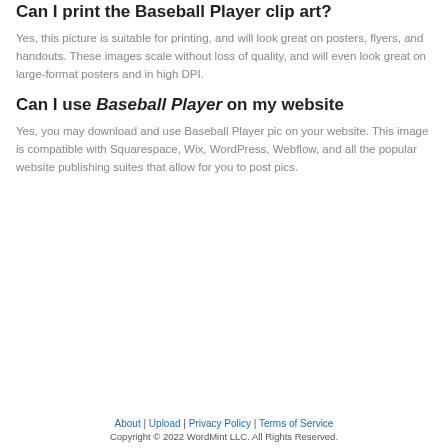Can I print the Baseball Player clip art?
Yes, this picture is suitable for printing, and will look great on posters, flyers, and handouts. These images scale without loss of quality, and will even look great on large-format posters and in high DPI.
Can I use Baseball Player on my website
Yes, you may download and use Baseball Player pic on your website. This image is compatible with Squarespace, Wix, WordPress, Webflow, and all the popular website publishing suites that allow for you to post pics.
About | Upload | Privacy Policy | Terms of Service
Copyright © 2022 WordMint LLC. All Rights Reserved.